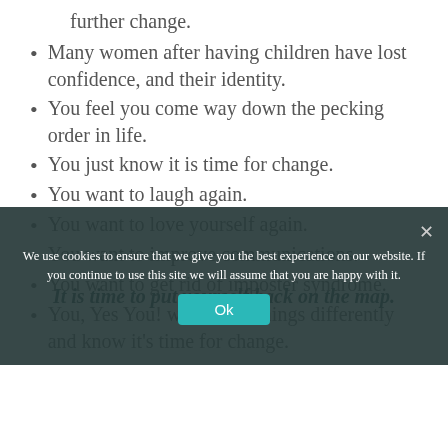further change.
Many women after having children have lost confidence, and their identity.
You feel you come way down the pecking order in life.
You just know it is time for change.
You want to laugh again.
You want to love yourself again.
You want to improve communications.
You want to get rid of imposter syndrome.
You, Yes You! want to do things differently and know it's time for change.
It is time to put yourself back on the map.
We use cookies to ensure that we give you the best experience on our website. If you continue to use this site we will assume that you are happy with it.